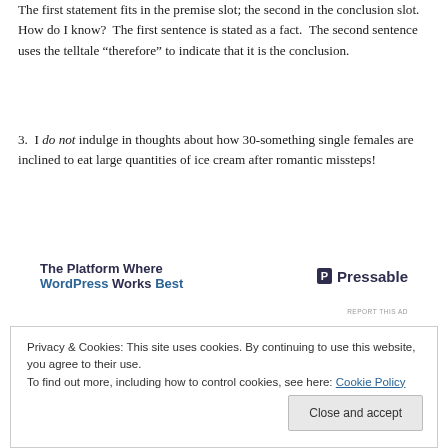The first statement fits in the premise slot; the second in the conclusion slot. How do I know? The first sentence is stated as a fact. The second sentence uses the telltale “therefore” to indicate that it is the conclusion.
3. I do not indulge in thoughts about how 30-something single females are inclined to eat large quantities of ice cream after romantic missteps!
[Figure (other): Advertisement banner: 'The Platform Where WordPress Works Best' on the left, and Pressable logo on the right.]
REPORT THIS AD
Privacy & Cookies: This site uses cookies. By continuing to use this website, you agree to their use. To find out more, including how to control cookies, see here: Cookie Policy
A I buy most X. Therefore, I do not eat most X.